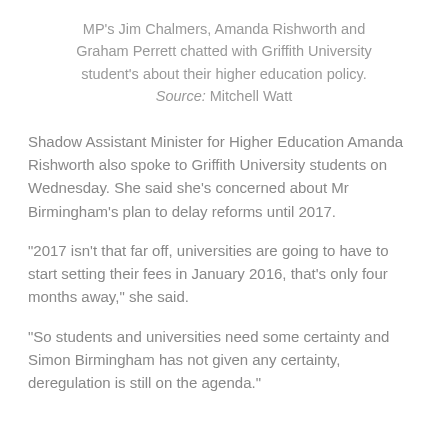MP's Jim Chalmers, Amanda Rishworth and Graham Perrett chatted with Griffith University student's about their higher education policy. Source: Mitchell Watt
Shadow Assistant Minister for Higher Education Amanda Rishworth also spoke to Griffith University students on Wednesday. She said she's concerned about Mr Birmingham's plan to delay reforms until 2017.
“2017 isn’t that far off, universities are going to have to start setting their fees in January 2016, that’s only four months away,” she said.
“So students and universities need some certainty and Simon Birmingham has not given any certainty, deregulation is still on the agenda.”